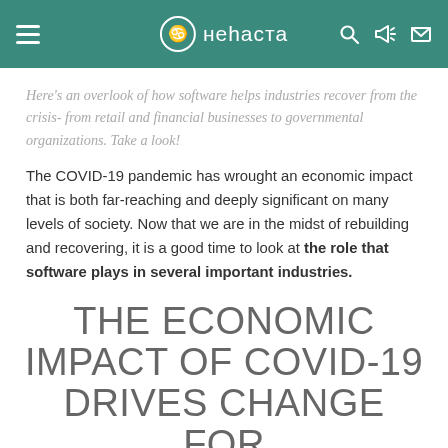неhaста
Here's an overlook of how software helps industries recover from the crisis- from retail and financial businesses to governmental organizations. Take a look!
The COVID-19 pandemic has wrought an economic impact that is both far-reaching and deeply significant on many levels of society. Now that we are in the midst of rebuilding and recovering, it is a good time to look at the role that software plays in several important industries.
THE ECONOMIC IMPACT OF COVID-19 DRIVES CHANGE FOR